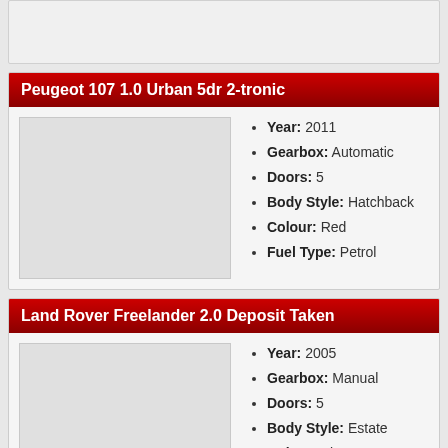Peugeot 107 1.0 Urban 5dr 2-tronic
Year: 2011
Gearbox: Automatic
Doors: 5
Body Style: Hatchback
Colour: Red
Fuel Type: Petrol
Land Rover Freelander 2.0 Deposit Taken
Year: 2005
Gearbox: Manual
Doors: 5
Body Style: Estate
Colour: Blue
Fuel Type: Diesel